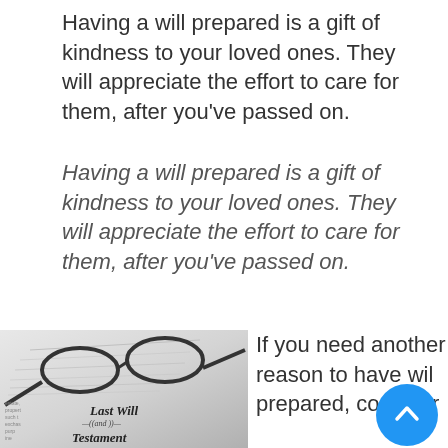Having a will prepared is a gift of kindness to your loved ones. They will appreciate the effort to care for them, after you’ve passed on.
Having a will prepared is a gift of kindness to your loved ones. They will appreciate the effort to care for them, after you’ve passed on.
[Figure (photo): Black and white photo of reading glasses resting on a document titled 'Last Will and Testament']
If you need another reason to have wil prepared, consider